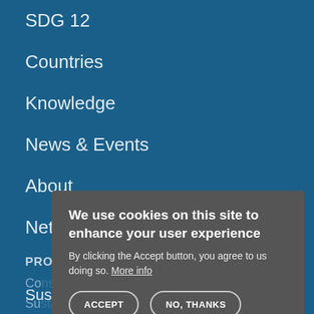SDG 12
Countries
Knowledge
News & Events
About
Network
PROGRAMMES
Consumer Information for SCP
Sustainable Buildings and Construction
Su...
[Figure (screenshot): Cookie consent modal dialog with title 'We use cookies on this site to enhance your user experience', body text 'By clicking the Accept button, you agree to us doing so. More info', and two buttons: ACCEPT and NO, THANKS]
Sustainable Lifestyles & Education